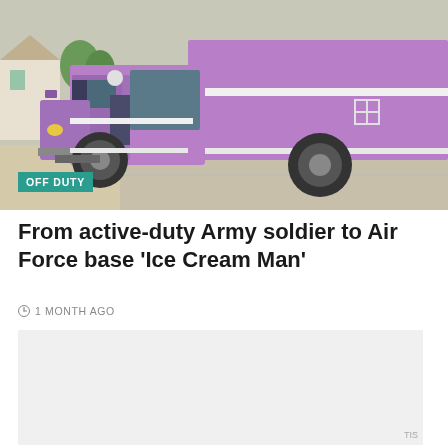[Figure (photo): A purple/lavender food truck (ice cream truck) parked on a concrete surface, with the driver door open, photographed from the front-left side. Suburban houses visible in the background.]
OFF DUTY
From active-duty Army soldier to Air Force base 'Ice Cream Man'
1 MONTH AGO
[Figure (photo): A second partially visible image below the article headline, mostly gray/light colored placeholder area.]